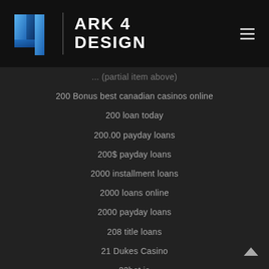[Figure (logo): Ark 4 Design logo with blue stylized '4' icon and text 'ARK 4 DESIGN' in white on dark background with hamburger menu icon]
200 Bonus best canadian casinos online
200 loan today
200.00 payday loans
200$ payday loans
2000 installment loans
2000 loans online
2000 payday loans
208 title loans
21 Dukes Casino
22bet ja
24 7 installment loans
24 7 payday loans
24 7 Payday Loans Online
24 7 title loans